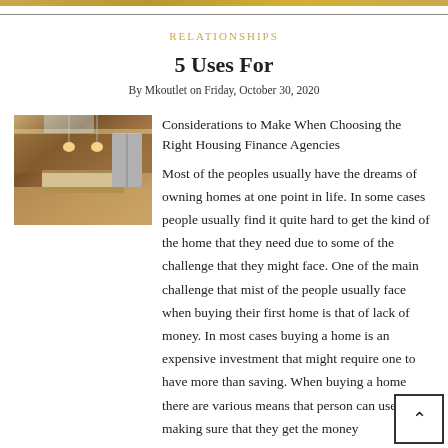RELATIONSHIPS
5 Uses For
By Mkoutlet on Friday, October 30, 2020
[Figure (photo): Kitchen interior with island, pendant lights, and stainless steel appliances]
Considerations to Make When Choosing the Right Housing Finance Agencies

Most of the peoples usually have the dreams of owning homes at one point in life. In some cases people usually find it quite hard to get the kind of the home that they need due to some of the challenge that they might face. One of the main challenge that mist of the people usually face when buying their first home is that of lack of money. In most cases buying a home is an expensive investment that might require one to have more than saving. When buying a home there are various means that person can use in making sure that they get the money